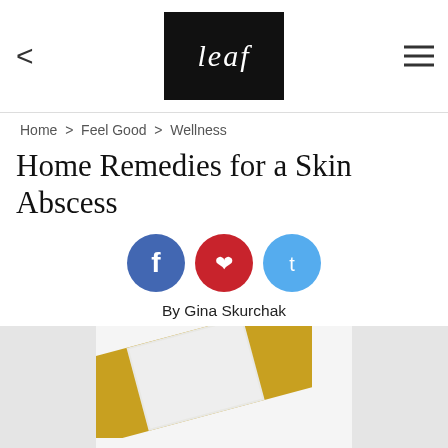leaf
Home > Feel Good > Wellness
Home Remedies for a Skin Abscess
[Figure (other): Social share icons: Facebook (blue circle), Pinterest (red circle), Twitter (light blue circle)]
By Gina Skurchak
[Figure (photo): Close-up photo of a tan/golden adhesive bandage (band-aid) on a white background, viewed at an angle]